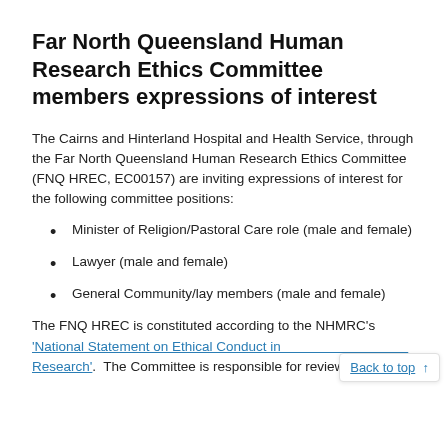Far North Queensland Human Research Ethics Committee members expressions of interest
The Cairns and Hinterland Hospital and Health Service, through the Far North Queensland Human Research Ethics Committee (FNQ HREC, EC00157) are inviting expressions of interest for the following committee positions:
Minister of Religion/Pastoral Care role (male and female)
Lawyer (male and female)
General Community/lay members (male and female)
The FNQ HREC is constituted according to the NHMRC's 'National Statement on Ethical Conduct in Research'. The Committee is responsible for reviewing and